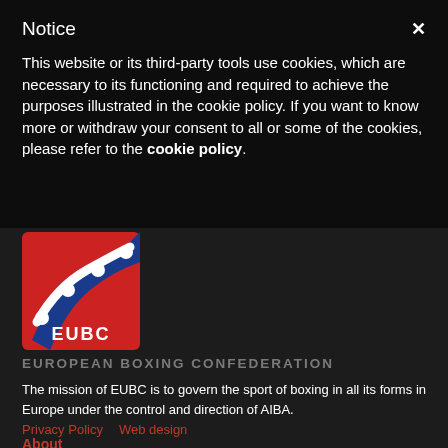Notice
This website or its third-party tools use cookies, which are necessary to its functioning and required to achieve the purposes illustrated in the cookie policy. If you want to know more or withdraw your consent to all or some of the cookies, please refer to the cookie policy.
[Figure (logo): EUBC European Boxing Confederation logo — red and blue swoosh design with boxing glove dots and EUBC text]
EUROPEAN BOXING CONFEDERATION
The mission of EUBC is to govern the sport of boxing in all its forms in Europe under the control and direction of AIBA.
Privacy Policy
Web design
About
History
Structure